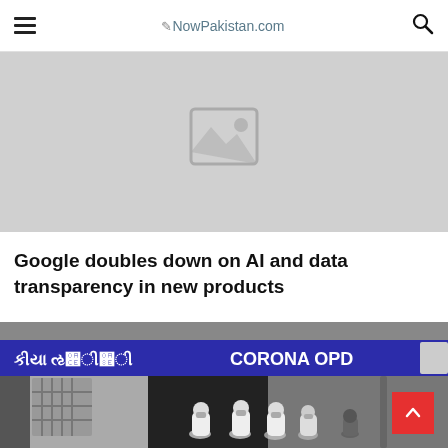≡  NowPakistan.com  🔍
[Figure (photo): Placeholder image (grey box with image icon) for an article]
Google doubles down on AI and data transparency in new products
[Figure (photo): Photo of Corona OPD entrance with sign in Gujarati and English reading 'CORONA OPD', with medical workers in white protective suits and masks standing outside]